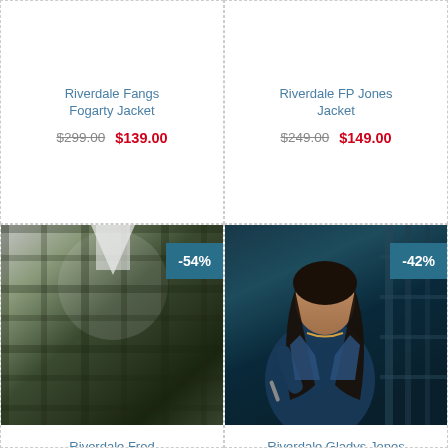Riverdale Fangs Fogarty Jacket
$299.00  $139.00
Riverdale FP Jones Jacket
$249.00  $149.00
[Figure (photo): Man wearing a dark green plaid jacket with sherpa lining, white shirt underneath, standing against white background]
Riverdale Fred Andrews Plaid Jacket
$299.00  $139.00
[Figure (photo): Woman with long dark hair wearing a denim jacket, holding a pen, dark moody background]
Riverdale Gladys Jones Jacket
$259.00  $149.00